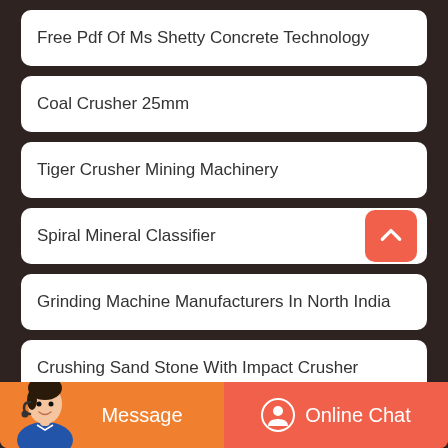Free Pdf Of Ms Shetty Concrete Technology
Coal Crusher 25mm
Tiger Crusher Mining Machinery
Spiral Mineral Classifier
Grinding Machine Manufacturers In North India
Crushing Sand Stone With Impact Crusher
Message
Online Chat